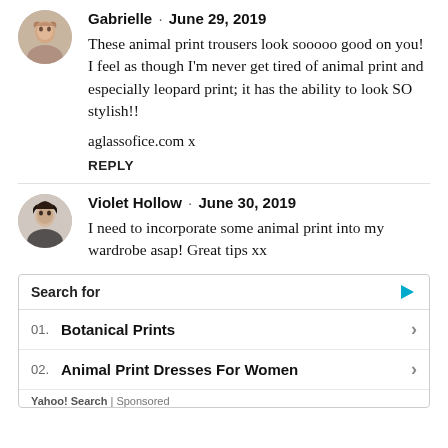[Figure (photo): Circular avatar photo of Gabrielle, a woman with light hair]
Gabrielle · June 29, 2019
These animal print trousers look sooooo good on you! I feel as though I'm never get tired of animal print and especially leopard print; it has the ability to look SO stylish!!
aglassofice.com x
REPLY
[Figure (photo): Circular avatar photo of Violet Hollow, a woman with dark hair]
Violet Hollow · June 30, 2019
I need to incorporate some animal print into my wardrobe asap! Great tips xx
Search for
01. Botanical Prints
02. Animal Print Dresses For Women
Yahoo! Search | Sponsored